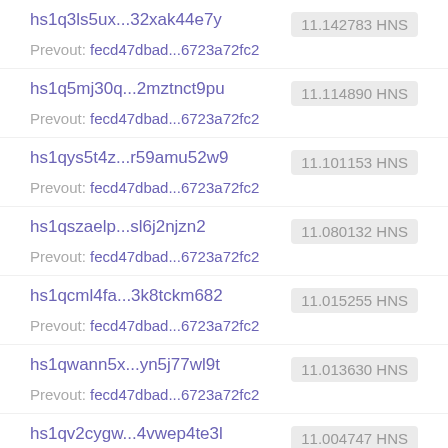hs1q3ls5ux...32xak44e7y  11.142783 HNS
Prevout: fecd47dbad...6723a72fc2
hs1q5mj30q...2mztnct9pu  11.114890 HNS
Prevout: fecd47dbad...6723a72fc2
hs1qys5t4z...r59amu52w9  11.101153 HNS
Prevout: fecd47dbad...6723a72fc2
hs1qszaelp...sl6j2njzn2  11.080132 HNS
Prevout: fecd47dbad...6723a72fc2
hs1qcml4fa...3k8tckm682  11.015255 HNS
Prevout: fecd47dbad...6723a72fc2
hs1qwann5x...yn5j77wl9t  11.013630 HNS
Prevout: fecd47dbad...6723a72fc2
hs1qv2cygw...4vwep4te3l  11.004747 HNS
Prevout: fecd47dbad...6723a72fc2